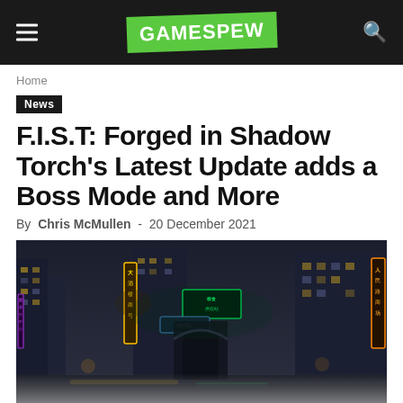GAMESPEW
Home
News
F.I.S.T: Forged in Shadow Torch's Latest Update adds a Boss Mode and More
By Chris McMullen - 20 December 2021
[Figure (photo): Neon-lit night cityscape with Chinese-style signs and buildings, dark atmospheric street scene from the game F.I.S.T: Forged in Shadow Torch]